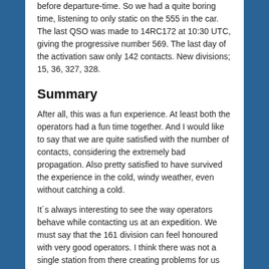before departure-time. So we had a quite boring time, listening to only static on the 555 in the car. The last QSO was made to 14RC172 at 10:30 UTC, giving the progressive number 569. The last day of the activation saw only 142 contacts. New divisions; 15, 36, 327, 328.
Summary
After all, this was a fun experience. At least both the operators had a fun time together. And I would like to say that we are quite satisfied with the number of contacts, considering the extremely bad propagation. Also pretty satisfied to have survived the experience in the cold, windy weather, even without catching a cold.
It´s always interesting to see the way operators behave while contacting us at an expedition. We must say that the 161 division can feel honoured with very good operators. I think there was not a single station from there creating problems for us and the other stations trying to call us. Most problems was created by operators in 26 division, although many very good ops there too. It´s of course always nice to hear someone´s life-story on the radio, but maybe not while many stations are standing by for a progressive number and the propagation is about to close. But still most operators behave far better on 11